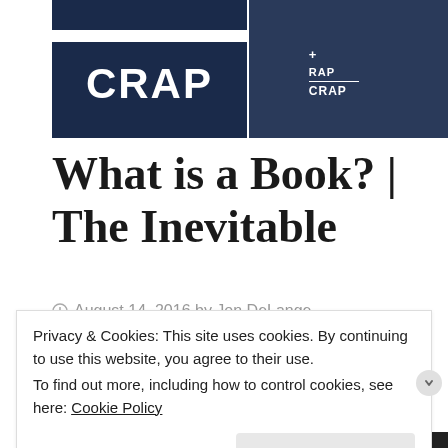[Figure (photo): Two photos side by side of a dark navy blue t-shirt. Left photo shows a close-up of the shirt with 'CRAP' printed in large white letters below a white horizontal stripe. Right photo shows a man wearing the same shirt full-body, with a formula showing '+', 'RAP' over a line, and 'CRAP' on the chest.]
What is a Book? | The Inevitable
August 14, 2016 by Jon DeLange
Privacy & Cookies: This site uses cookies. By continuing to use this website, you agree to their use.
To find out more, including how to control cookies, see here: Cookie Policy
Close and accept